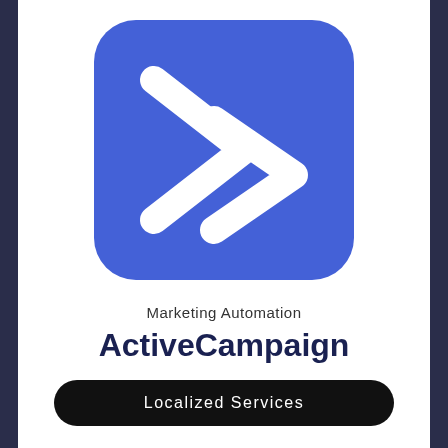[Figure (logo): ActiveCampaign logo: blue rounded square with white double chevron/arrow pointing right]
Marketing Automation
ActiveCampaign
Localized Services